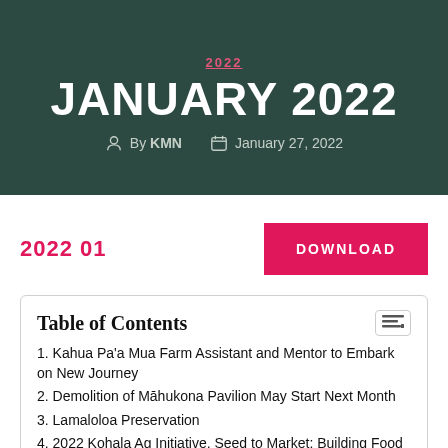2022
JANUARY 2022
By KMN   January 27, 2022
2022 01
DOWNLOAD
Table of Contents
1. Kahua Pa'a Mua Farm Assistant and Mentor to Embark on New Journey
2. Demolition of Māhukona Pavilion May Start Next Month
3. Lamaloloa Preservation
4. 2022 Kohala Ag Initiative, Seed to Market: Building Food